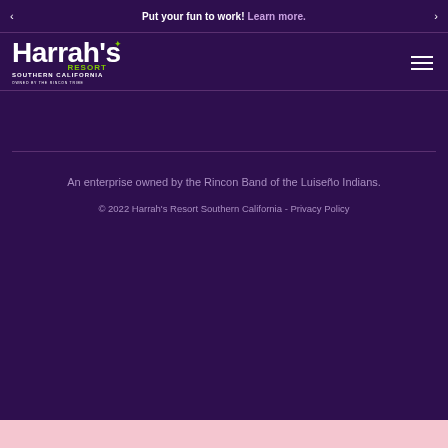Put your fun to work! Learn more.
[Figure (logo): Harrah's Resort Southern California logo - white and green text on dark purple background]
An enterprise owned by the Rincon Band of the Luiseño Indians.
© 2022 Harrah's Resort Southern California - Privacy Policy